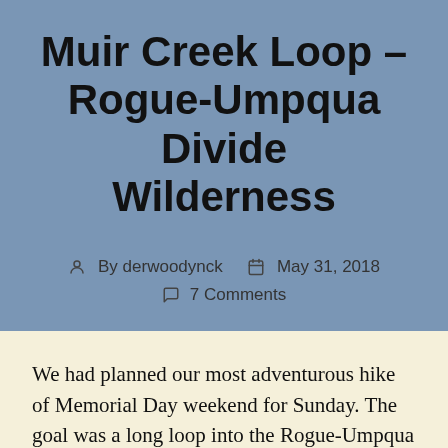Muir Creek Loop – Rogue-Umpqua Divide Wilderness
By derwoodynck   May 31, 2018   7 Comments
We had planned our most adventurous hike of Memorial Day weekend for Sunday. The goal was a long loop into the Rogue-Umpqua Divide Wilderness, one of the wilderness areas we had yet to visit in our outings. Our intended route was to begin at the Muir Creek Trailhead and complete a 15.5 mile loop described by William